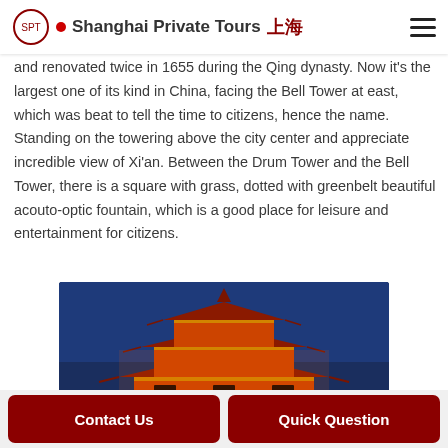Shanghai Private Tours
and renovated twice in 1655 during the Qing dynasty. Now it's the largest one of its kind in China, facing the Bell Tower at east, which was beat to tell the time to citizens, hence the name. Standing on the towering above the city center and appreciate incredible view of Xi'an. Between the Drum Tower and the Bell Tower, there is a square with grass, dotted with greenbelt beautiful acouto-optic fountain, which is a good place for leisure and entertainment for citizens.
[Figure (photo): Night view of a traditional Chinese multi-tiered pagoda tower illuminated in orange and red lights against a deep blue sky — likely the Drum Tower of Xi'an.]
Contact Us | Quick Question